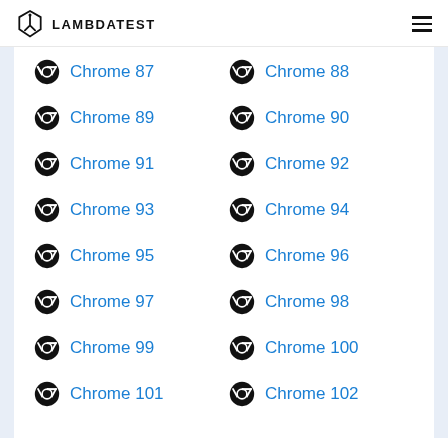LAMBDATEST
Chrome 87
Chrome 88
Chrome 89
Chrome 90
Chrome 91
Chrome 92
Chrome 93
Chrome 94
Chrome 95
Chrome 96
Chrome 97
Chrome 98
Chrome 99
Chrome 100
Chrome 101
Chrome 102